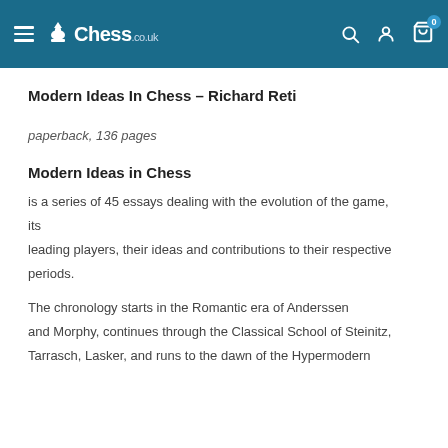Chess.co.uk
Modern Ideas In Chess - Richard Reti
paperback, 136 pages
Modern Ideas in Chess
is a series of 45 essays dealing with the evolution of the game, its leading players, their ideas and contributions to their respective periods.
The chronology starts in the Romantic era of Anderssen and Morphy, continues through the Classical School of Steinitz, Tarrasch, Lasker, and runs to the dawn of the Hypermodern